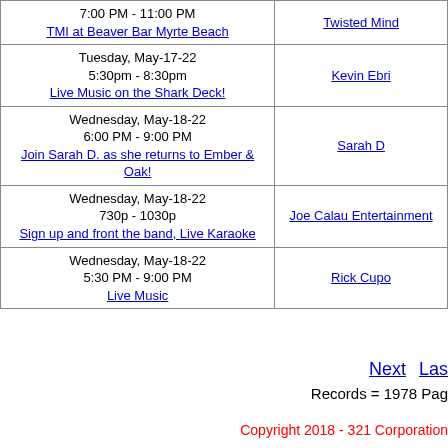| Event | Performer |
| --- | --- |
| 7:00 PM - 11:00 PM
TMI at Beaver Bar Myrte Beach | Twisted Mind |
| Tuesday, May-17-22
5:30pm - 8:30pm
Live Music on the Shark Deck! | Kevin Ebri |
| Wednesday, May-18-22
6:00 PM - 9:00 PM
Join Sarah D. as she returns to Ember & Oak! | Sarah D |
| Wednesday, May-18-22
730p - 1030p
Sign up and front the band, Live Karaoke | Joe Calau Entertainment |
| Wednesday, May-18-22
5:30 PM - 9:00 PM
Live Music | Rick Cupo |
Next   Last
Records = 1978 Page
Copyright 2018 - 321 Corporation